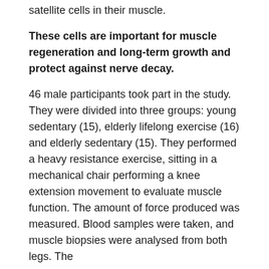satellite cells in their muscle.
These cells are important for muscle regeneration and long-term growth and protect against nerve decay.
46 male participants took part in the study. They were divided into three groups: young sedentary (15), elderly lifelong exercise (16) and elderly sedentary (15). They performed a heavy resistance exercise, sitting in a mechanical chair performing a knee extension movement to evaluate muscle function. The amount of force produced was measured. Blood samples were taken, and muscle biopsies were analysed from both legs. The